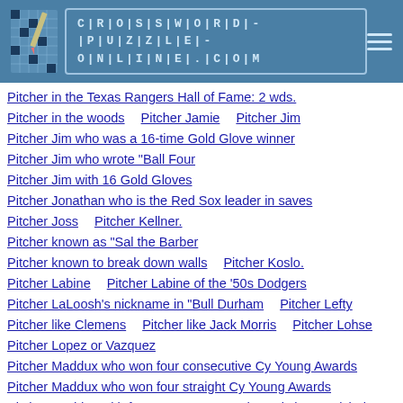CROSSWORD-PUZZLE-ONLINE.COM
Pitcher in the Texas Rangers Hall of Fame: 2 wds.
Pitcher in the woods    Pitcher Jamie    Pitcher Jim
Pitcher Jim who was a 16-time Gold Glove winner
Pitcher Jim who wrote "Ball Four
Pitcher Jim with 16 Gold Gloves
Pitcher Jonathan who is the Red Sox leader in saves
Pitcher Joss    Pitcher Kellner.
Pitcher known as "Sal the Barber
Pitcher known to break down walls    Pitcher Koslo.
Pitcher Labine    Pitcher Labine of the '50s Dodgers
Pitcher LaLoosh's nickname in "Bull Durham    Pitcher Lefty
Pitcher like Clemens    Pitcher like Jack Morris    Pitcher Lohse
Pitcher Lopez or Vazquez
Pitcher Maddux who won four consecutive Cy Young Awards
Pitcher Maddux who won four straight Cy Young Awards
Pitcher Maddux with four Cy Young Awards    Pitcher Marichal
Pitcher Max ___.    Pitcher McLain    Pitcher meas.
Pitcher Medich's nickname    Pitcher Mike Mussina's nickname